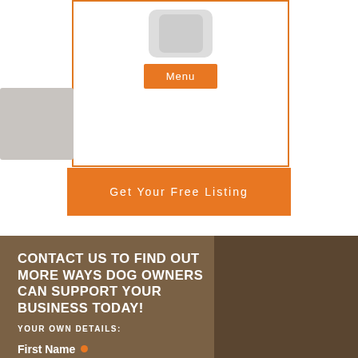[Figure (screenshot): Phone/tablet device icon with an orange 'Menu' button, inside an orange-bordered box]
Menu
Get Your Free Listing
CONTACT US TO FIND OUT MORE WAYS DOG OWNERS CAN SUPPORT YOUR BUSINESS TODAY!
YOUR OWN DETAILS:
First Name